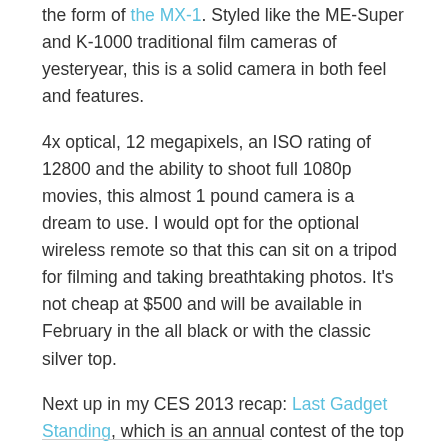the form of the MX-1. Styled like the ME-Super and K-1000 traditional film cameras of yesteryear, this is a solid camera in both feel and features.
4x optical, 12 megapixels, an ISO rating of 12800 and the ability to shoot full 1080p movies, this almost 1 pound camera is a dream to use. I would opt for the optional wireless remote so that this can sit on a tripod for filming and taking breathtaking photos. It's not cheap at $500 and will be available in February in the all black or with the classic silver top.
Next up in my CES 2013 recap: Last Gadget Standing, which is an annual contest of the top rated consumer electronics.